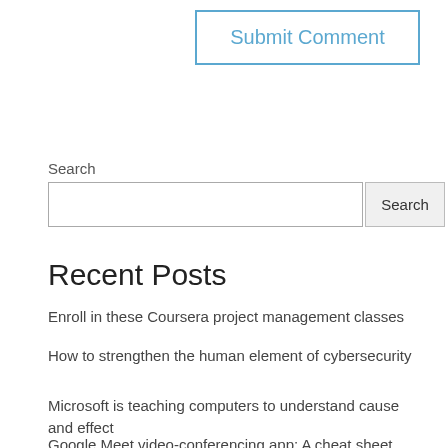[Figure (other): Submit Comment button with blue border and blue text]
Search
[Figure (other): Search input field and Search button]
Recent Posts
Enroll in these Coursera project management classes
How to strengthen the human element of cybersecurity
Microsoft is teaching computers to understand cause and effect
Google Meet video-conferencing app: A cheat sheet